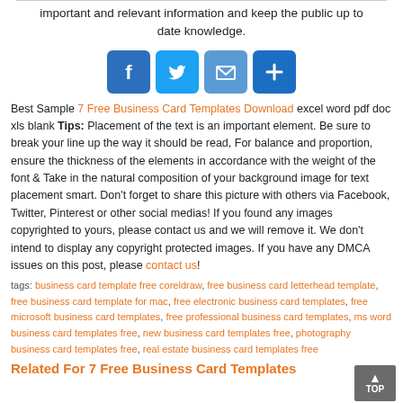important and relevant information and keep the public up to date knowledge.
[Figure (infographic): Four social media sharing buttons: Facebook (blue, f icon), Twitter (light blue, bird icon), Email (blue, envelope icon), Share/More (blue, plus icon)]
Best Sample 7 Free Business Card Templates Download excel word pdf doc xls blank Tips: Placement of the text is an important element. Be sure to break your line up the way it should be read, For balance and proportion, ensure the thickness of the elements in accordance with the weight of the font & Take in the natural composition of your background image for text placement smart. Don’t forget to share this picture with others via Facebook, Twitter, Pinterest or other social medias! If you found any images copyrighted to yours, please contact us and we will remove it. We don't intend to display any copyright protected images. If you have any DMCA issues on this post, please contact us!
tags: business card template free coreldraw, free business card letterhead template, free business card template for mac, free electronic business card templates, free microsoft business card templates, free professional business card templates, ms word business card templates free, new business card templates free, photography business card templates free, real estate business card templates free
Related For 7 Free Business Card Templates